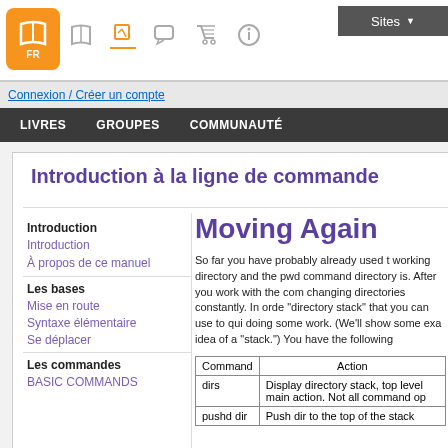Sites navigation bar with FR logo, book, edit, chat, cart, info icons, and Sites dropdown
Connexion / Créer un compte
LIVRES   GROUPES   COMMUNAUTÉ
Introduction à la ligne de commande
Introduction
Introduction
À propos de ce manuel
Les bases
Mise en route
Syntaxe élémentaire
Se déplacer
Les commandes
BASIC COMMANDS
Moving Again
So far you have probably already used the working directory and the pwd command to see what directory is. After you work with the command line, changing directories constantly. In order to "directory stack" that you can use to quickly go somewhere while doing some work. (We'll show some examples idea of a "stack.") You have the following
| Command | Action |
| --- | --- |
| dirs | Display directory stack, top level main action. Not all command op |
| pushd dir | Push dir to the top of the stack |